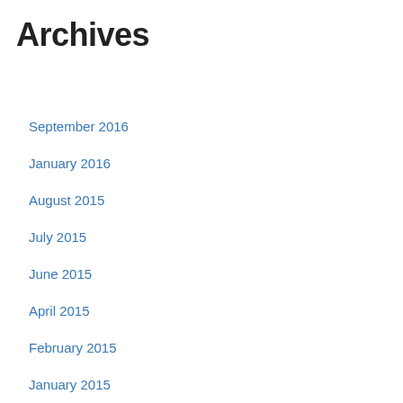Archives
September 2016
January 2016
August 2015
July 2015
June 2015
April 2015
February 2015
January 2015
October 2014
September 2014